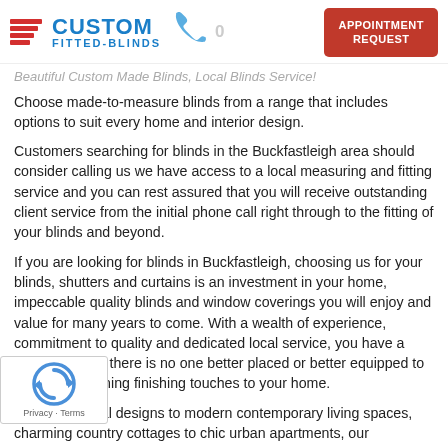[Figure (logo): Custom Fitted-Blinds logo with red horizontal stripes and blue text, phone icon and appointment request button]
Beautiful Custom Made Blinds, Local Blinds Service!
Choose made-to-measure blinds from a range that includes options to suit every home and interior design.
Customers searching for blinds in the Buckfastleigh area should consider calling us we have access to a local measuring and fitting service and you can rest assured that you will receive outstanding client service from the initial phone call right through to the fitting of your blinds and beyond.
If you are looking for blinds in Buckfastleigh, choosing us for your blinds, shutters and curtains is an investment in your home, impeccable quality blinds and window coverings you will enjoy and value for many years to come. With a wealth of experience, commitment to quality and dedicated local service, you have a guarantee that there is no one better placed or better equipped to help [with] stunning finishing touches to your home.
[From cl]assic traditional designs to modern contemporary living spaces, charming country cottages to chic urban apartments, our